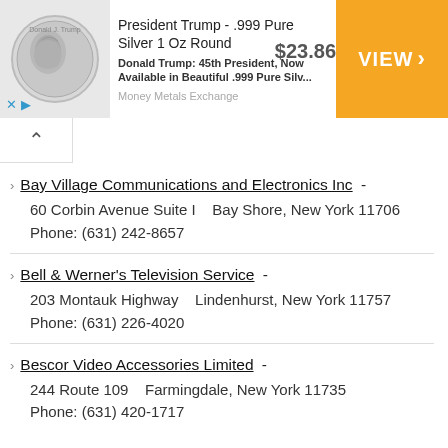[Figure (infographic): Advertisement banner: President Trump .999 Pure Silver 1 Oz Round coin ad from Money Metals Exchange, priced at $23.86 with orange VIEW > button]
Bay Village Communications and Electronics Inc - 60 Corbin Avenue Suite I    Bay Shore, New York 11706 Phone: (631) 242-8657
Bell & Werner's Television Service - 203 Montauk Highway    Lindenhurst, New York 11757 Phone: (631) 226-4020
Bescor Video Accessories Limited - 244 Route 109    Farmingdale, New York 11735 Phone: (631) 420-1717